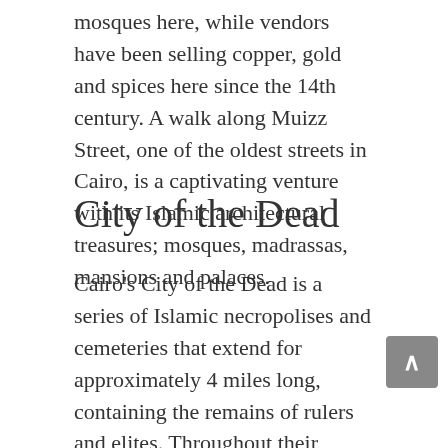mosques here, while vendors have been selling copper, gold and spices here since the 14th century. A walk along Muizz Street, one of the oldest streets in Cairo, is a captivating venture with its Islamic architectural treasures; mosques, madrassas, mansions and palaces.
City of the Dead
Cairo's City of the Dead is a series of Islamic necropolises and cemeteries that extend for approximately 4 miles long, containing the remains of rulers and elites. Throughout their history, they were home to various types of living inhabitants such as the workers whose professions were tied to the cemeteries, religious scholars and others. During the 19th century, as the population of Cairo increased, the housing shortage got worse and